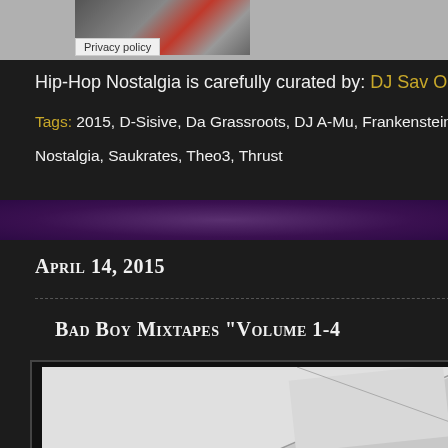[Figure (photo): Partial photo thumbnail showing a person with red element, gray tones]
Privacy policy
Hip-Hop Nostalgia is carefully curated by: DJ Sav One
Tags: 2015, D-Sisive, Da Grassroots, DJ A-Mu, Frankenstein, Ghetto Nostalgia, Saukrates, Theo3, Thrust
April 14, 2015
Bad Boy Mixtapes "Volume 1-4"
[Figure (photo): Album cover artwork partially visible, white/gray background with diagonal sleeve element]